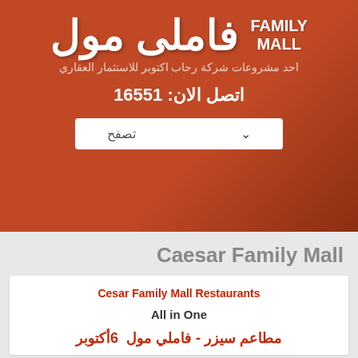فاملى مول FAMILY MALL
احد مشروعات شركة رحاب اكتوبر للاستثمار العقاري
اتصل الان: 16551
تصفح
Caesar Family Mall
Cesar Family Mall Restaurants
All in One
مطاعم سيزر - فاملي مول 6أكتوبر